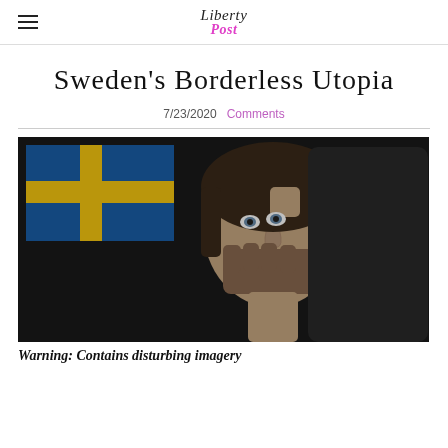Liberty Post
Sweden's Borderless Utopia
7/23/2020  Comments
[Figure (photo): Swedish flag overlaid on a distressed woman being grabbed from behind with a hand over her mouth, dark moody background.]
Warning: Contains disturbing imagery